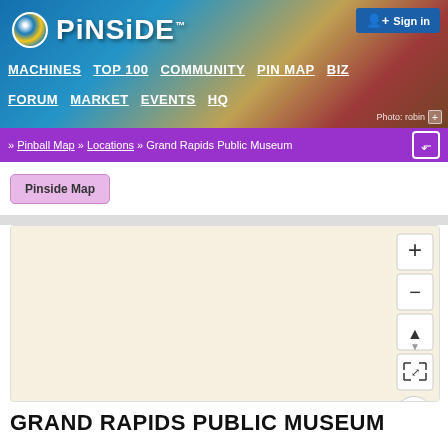[Figure (screenshot): Pinside website header banner with logo, navigation links (MACHINES TOP 100 COMMUNITY PIN MAP BIZ FORUM MARKET EVENTS HQ), Sign in button, and colorful pinball machine background photo]
» Pinball Map » Locations » Grand Rapids Public Museum
Pinside Map
[Figure (map): Interactive map showing beige/tan blank map area with zoom controls (+, -, compass arrow), expand icon, and info icon on the right side]
GRAND RAPIDS PUBLIC MUSEUM